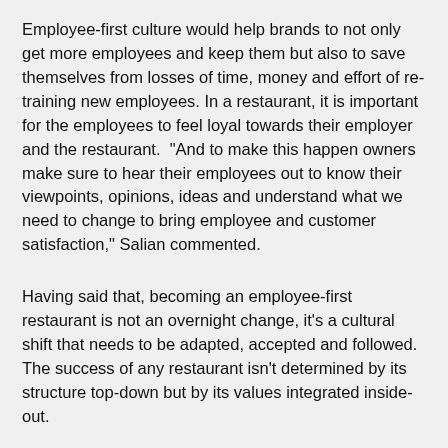Employee-first culture would help brands to not only get more employees and keep them but also to save themselves from losses of time, money and effort of re-training new employees. In a restaurant, it is important for the employees to feel loyal towards their employer and the restaurant.  “And to make this happen owners make sure to hear their employees out to know their viewpoints, opinions, ideas and understand what we need to change to bring employee and customer satisfaction,” Salian commented.
Having said that, becoming an employee-first restaurant is not an overnight change, it’s a cultural shift that needs to be adapted, accepted and followed. The success of any restaurant isn’t determined by its structure top-down but by its values integrated inside-out.
After all, in a tight labour market made even tighter by the pandemic’s challenges, any restaurant would want